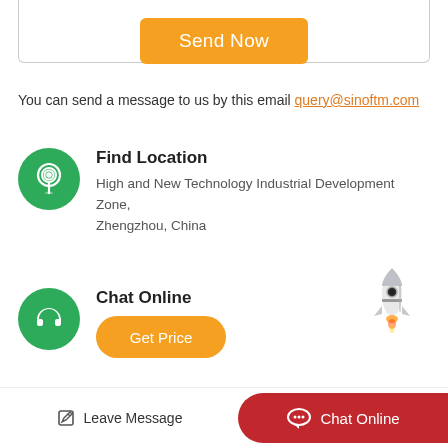[Figure (other): Orange 'Send Now' button inside a bordered card area at the top of the page]
You can send a message to us by this email query@sinoftm.com
Find Location
High and New Technology Industrial Development Zone, Zhengzhou, China
Chat Online
[Figure (illustration): Rocket illustration in the lower right area]
Get Price
Leave Message   Chat Online